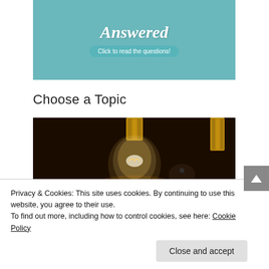[Figure (photo): Teal/cyan background with cursive 'Answered' text and 'Click to read the questions!' subtitle button]
Choose a Topic
[Figure (photo): Dark background photo of vintage glowing Edison light bulbs with brass fittings]
Privacy & Cookies: This site uses cookies. By continuing to use this website, you agree to their use.
To find out more, including how to control cookies, see here: Cookie Policy
Close and accept